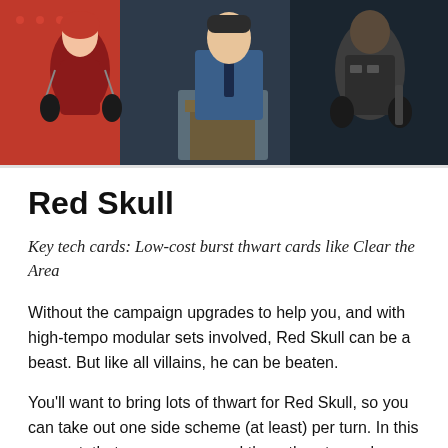[Figure (illustration): Comic book style illustration showing characters including a woman in a red corset with chains, a man in a suit at a podium, and a figure in tactical gear on the right, set against a colorful comic background.]
Red Skull
Key tech cards: Low-cost burst thwart cards like Clear the Area
Without the campaign upgrades to help you, and with high-tempo modular sets involved, Red Skull can be a beast. But like all villains, he can be beaten.
You'll want to bring lots of thwart for Red Skull, so you can take out one side scheme (at least) per turn. In this own set, that averages around three threat per player.